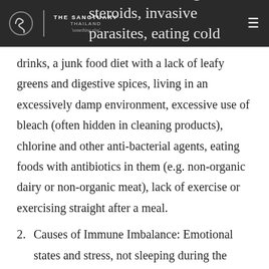THE SANCTUARY THAILAND 'something else' — antibiotics, taking steroids, invasive parasites, eating cold and frozen foods and
drinks, a junk food diet with a lack of leafy greens and digestive spices, living in an excessively damp environment, excessive use of bleach (often hidden in cleaning products), chlorine and other anti-bacterial agents, eating foods with antibiotics in them (e.g. non-organic dairy or non-organic meat), lack of exercise or exercising straight after a meal.
2. Causes of Immune Imbalance: Emotional states and stress, not sleeping during the night cycle, high or low spikes in blood